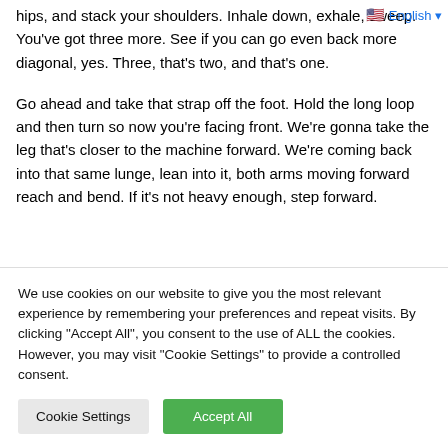hips, and stack your shoulders. Inhale down, exhale, sweep. You've got three more. See if you can go even back more diagonal, yes. Three, that's two, and that's one.
Go ahead and take that strap off the foot. Hold the long loop and then turn so now you're facing front. We're gonna take the leg that's closer to the machine forward. We're coming back into that same lunge, lean into it, both arms moving forward reach and bend. If it's not heavy enough, step forward.
We use cookies on our website to give you the most relevant experience by remembering your preferences and repeat visits. By clicking "Accept All", you consent to the use of ALL the cookies. However, you may visit "Cookie Settings" to provide a controlled consent.